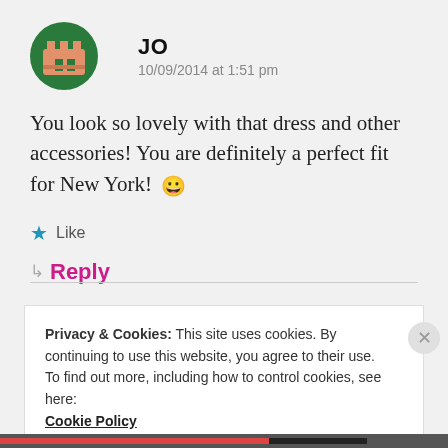[Figure (illustration): Round green avatar icon with a pixel-art building/castle emoji in salmon/pink color]
JO
10/09/2014 at 1:51 pm
You look so lovely with that dress and other accessories! You are definitely a perfect fit for New York! 😀
★ Like
↳ Reply
Privacy & Cookies: This site uses cookies. By continuing to use this website, you agree to their use.
To find out more, including how to control cookies, see here: Cookie Policy
Close and accept